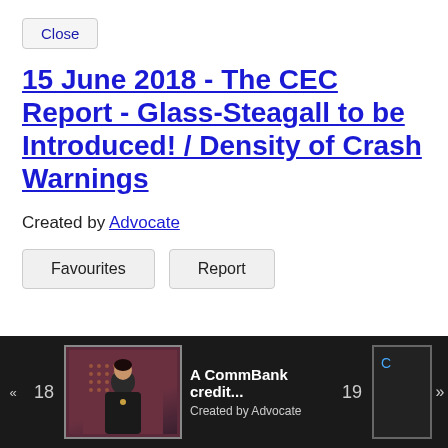Close
15 June 2018 - The CEC Report - Glass-Steagall to be Introduced! / Density of Crash Warnings
Created by Advocate
Favourites   Report
[Figure (screenshot): Bottom filmstrip navigation bar showing items 18 and 19. Item 18 shows a thumbnail of a woman in a dark jacket against a dark red/maroon background labeled 'A CommBank credit... Created by Advocate'. Item 19 is partially visible on the right edge. Navigation arrows are on the left and right edges.]